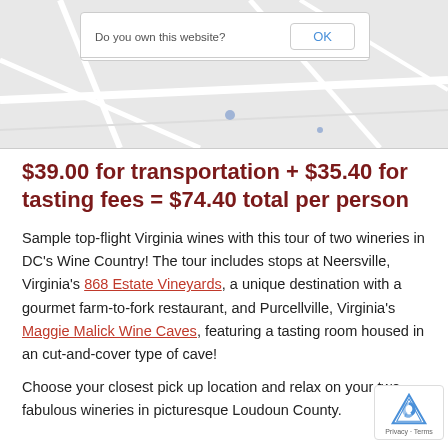[Figure (screenshot): Map screenshot with a dialog box saying 'Do you own this website?' and an OK button, over a greyed-out map background]
$39.00 for transportation + $35.40 for tasting fees = $74.40 total per person
Sample top-flight Virginia wines with this tour of two wineries in DC’s Wine Country! The tour includes stops at Neersville, Virginia’s 868 Estate Vineyards, a unique destination with a gourmet farm-to-fork restaurant, and Purcellville, Virginia’s Maggie Malick Wine Caves, featuring a tasting room housed in an cut-and-cover type of cave!
Choose your closest pick up location and relax on your two fabulous wineries in picturesque Loudoun County.